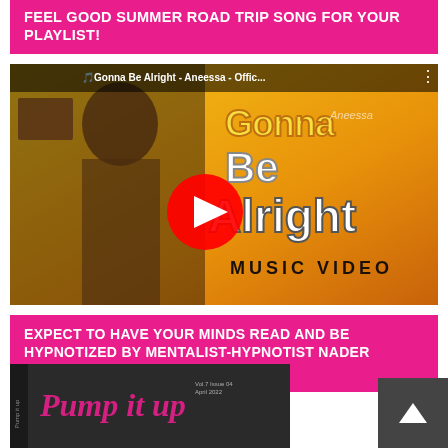FEEL GOOD SUMMER ROAD TRIP SONG FOR YOUR PLAYLIST!
[Figure (screenshot): YouTube video thumbnail for 'Gonna Be Alright - Aneessa - Official Music Video' showing a woman in bohemian dress with a play button overlay]
EXPECT TO HAVE YOUR MINDS READ AND BE HYPNOTIZED BY MENTALIST-HYPNOTIST NADER HANNA –
[Figure (screenshot): Partial thumbnail of 'Pump It Up' magazine cover in dark background with pink script text]